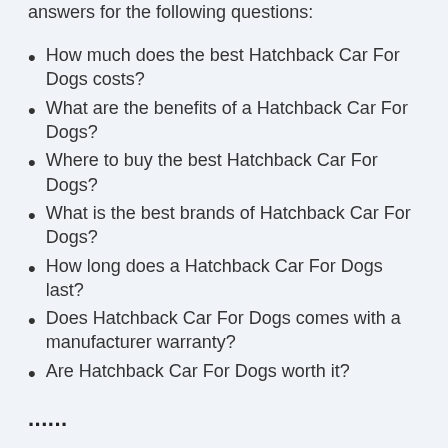answers for the following questions:
How much does the best Hatchback Car For Dogs costs?
What are the benefits of a Hatchback Car For Dogs?
Where to buy the best Hatchback Car For Dogs?
What is the best brands of Hatchback Car For Dogs?
How long does a Hatchback Car For Dogs last?
Does Hatchback Car For Dogs comes with a manufacturer warranty?
Are Hatchback Car For Dogs worth it?
...